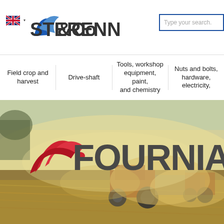[Figure (logo): Sterenn & Co logo with blue swoosh graphic and UK flag icon]
[Figure (screenshot): Search box with placeholder text 'Type your search.']
Field crop and harvest
Drive-shaft
Tools, workshop equipment, paint, and chemistry
Nuts and bolts, hardware, electricity,
[Figure (photo): Agricultural scene with tractor working in dusty field, with FOURNIAL brand logo overlay in red and dark gray]